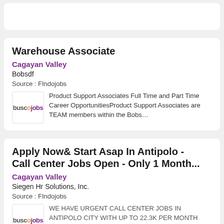Warehouse Associate
Cagayan Valley
Bobsdf
Source : FIndojobs
Product Support Associates Full Time and Part Time Career OpportunitiesProduct Support Associates are TEAM members within the Bobs...
Apply Now& Start Asap In Antipolo - Call Center Jobs Open - Only 1 Month...
Cagayan Valley
Siegen Hr Solutions, Inc.
Source : FIndojobs
WE HAVE URGENT CALL CENTER JOBS IN ANTIPOLO CITY WITH UP TO 22.3K PER MONTH SALARY! DO YOU HAVE AT LEAST 1 MONTH PURE VOICE CALL CENTER...